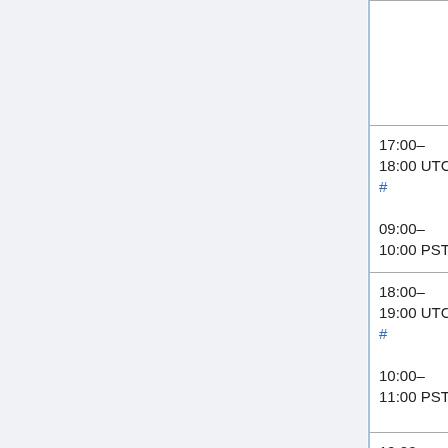| Time | Event | People |
| --- | --- | --- |
|  |  |  |
| 17:00–18:00 UTC #
09:00–10:00 PST | Puppet SWAT
(Max 6 patches) | Filippo (godog)
Giuseppe (_jo... |
| 18:00–19:00 UTC #
10:00–11:00 PST | Services – Graphoid / Parsoid / Citoid / ORES | C.Scott (cscot...
Arlo (arlolra)
Subbu (subbu)
Aaron (halfak...
(Amir1) |
| 19:00–20:00 UTC # | Morning SWAT
(Max 6... | addshore, Ant...
(hashar), Katie
(aude), Max
(MaxSem), Muk...
(twentyafter...
Roan
(RoanKattou... |